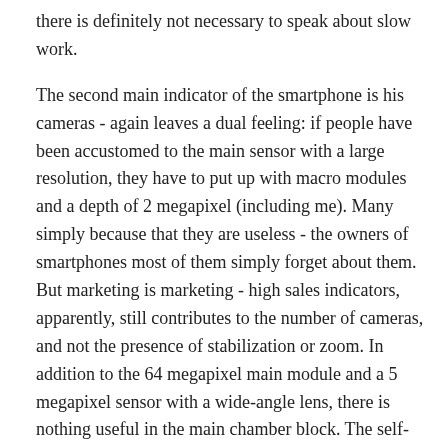there is definitely not necessary to speak about slow work.
The second main indicator of the smartphone is his cameras - again leaves a dual feeling: if people have been accustomed to the main sensor with a large resolution, they have to put up with macro modules and a depth of 2 megapixel (including me). Many simply because that they are useless - the owners of smartphones most of them simply forget about them. But marketing is marketing - high sales indicators, apparently, still contributes to the number of cameras, and not the presence of stabilization or zoom. In addition to the 64 megapixel main module and a 5 megapixel sensor with a wide-angle lens, there is nothing useful in the main chamber block. The self-camera received a resolution of 16 megapixel.
Questions to the smartphone will be in terms of autonomy: in the Honor X8 there is a battery, the volume of which is only 4000 m / h. Large screen, and even with high deprait - a serious test even for a smartphone's battery, and this is not to mention the